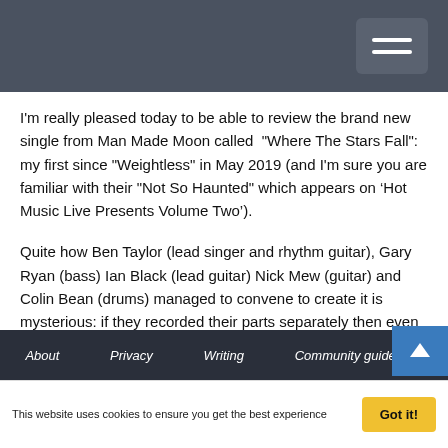[Navigation bar with hamburger menu]
I'm really pleased today to be able to review the brand new single from Man Made Moon called "Where The Stars Fall": my first since "Weightless" in May 2019 (and I'm sure you are familiar with their "Not So Haunted" which appears on ‘Hot Music Live Presents Volume Two’).
Quite how Ben Taylor (lead singer and rhythm guitar), Gary Ryan (bass) Ian Black (lead guitar) Nick Mew (guitar) and Colin Bean (drums) managed to convene to create it is mysterious: if they recorded their parts separately then even more kudos for how organically & sympathetically the elements blend. Respect too for the care which has
About   Privacy   Writing   Community guidelines
This website uses cookies to ensure you get the best experience